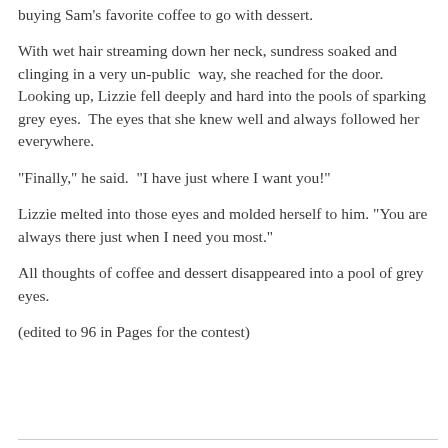buying Sam's favorite coffee to go with dessert.
With wet hair streaming down her neck, sundress soaked and clinging in a very un-public way, she reached for the door. Looking up, Lizzie fell deeply and hard into the pools of sparking grey eyes. The eyes that she knew well and always followed her everywhere.
"Finally," he said. "I have just where I want you!"
Lizzie melted into those eyes and molded herself to him. "You are always there just when I need you most."
All thoughts of coffee and dessert disappeared into a pool of grey eyes.
(edited to 96 in Pages for the contest)